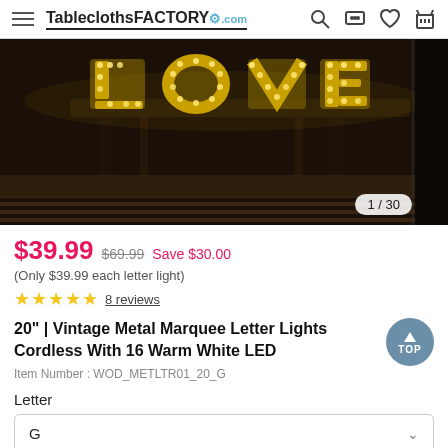TableclothsFACTORY.com
[Figure (photo): Product image of vintage metal marquee letter lights on a dark background with warm white LED lights glowing. Image counter shows 1/30.]
$39.99  $69.99  Save $30.00
(Only $39.99 each letter light)
★★★★★  8 reviews
20" | Vintage Metal Marquee Letter Lights Cordless With 16 Warm White LED
Item Number : WOD_METLTR01_20_G
Letter
G